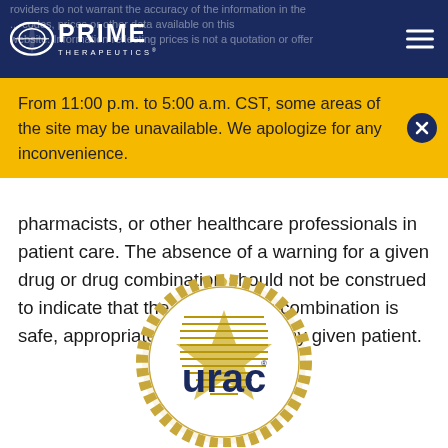providers do not warrant the accuracy of the information in the ... codes, prices or other data available on this website. Information reflecting prices is not a quotation or offer
From 11:00 p.m. to 5:00 a.m. CST, some areas of the site may be unavailable. We apologize for any inconvenience.
pharmacists, or other healthcare professionals in patient care. The absence of a warning for a given drug or drug combination should not be construed to indicate that the drug or drug combination is safe, appropriate or effective in any given patient.
[Figure (logo): URAC accreditation seal — circular gold scalloped badge with a star and the text 'urac' in blue]